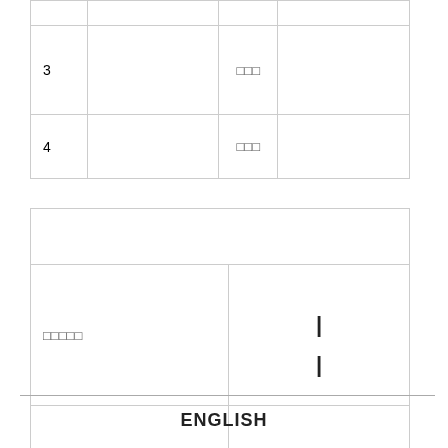|  |  |  |  |
| --- | --- | --- | --- |
|  |  |  |  |
| 3 |  | □□□ |  |
| 4 |  | □□□ |  |
|  |  |
| --- | --- |
|  |  |
| □□□□□ | | | |
|  |  |
ENGLISH